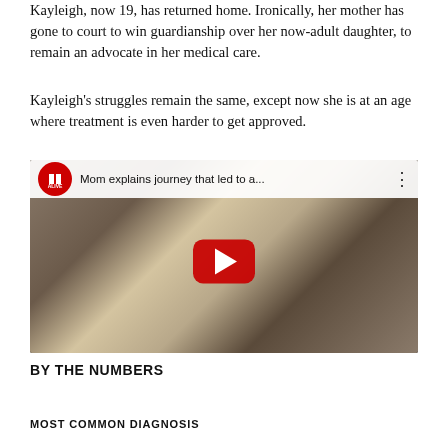Kayleigh, now 19, has returned home. Ironically, her mother has gone to court to win guardianship over her now-adult daughter, to remain an advocate in her medical care.
Kayleigh's struggles remain the same, except now she is at an age where treatment is even harder to get approved.
[Figure (screenshot): YouTube video thumbnail showing two women (a young woman with long blonde hair and an older woman with long dark hair) sitting together. The video is from 11 ALIVE news channel and is titled 'Mom explains journey that led to a...']
BY THE NUMBERS
MOST COMMON DIAGNOSIS